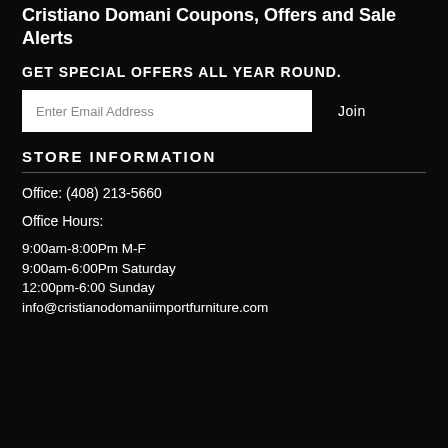Cristiano Domani Coupons, Offers and Sale Alerts
GET SPECIAL OFFERS ALL YEAR ROUND.
Enter Email Address  Join
STORE INFORMATION
Office: (408) 213-5660
Office Hours:
9:00am-8:00Pm M-F
9:00am-6:00Pm Saturday
12:00pm-6:00 Sunday
info@cristianodomaniimportfurniture.com